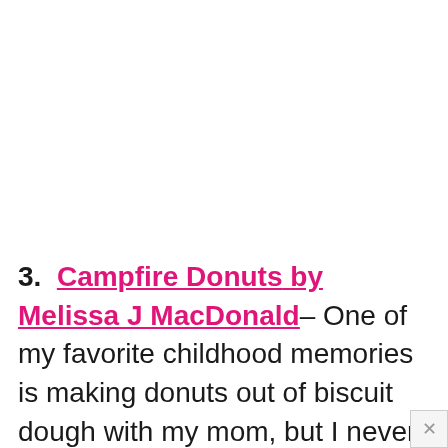3.  Campfire Donuts by Melissa J MacDonald– One of my favorite childhood memories is making donuts out of biscuit dough with my mom, but I never thought about doing it over the campfire!  Just use an empty tin can as your little donut oven- genius!